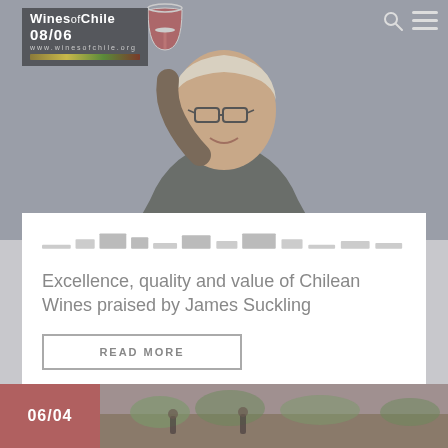[Figure (photo): Man in glasses holding a red wine glass up, smiling, against a gray background. Wines of Chile logo overlay in top left corner.]
Excellence, quality and value of Chilean Wines praised by James Suckling
READ MORE
[Figure (photo): Bottom preview strip showing date 06/04 in a rose/mauve box alongside a partial image of a vineyard or wine-related scene.]